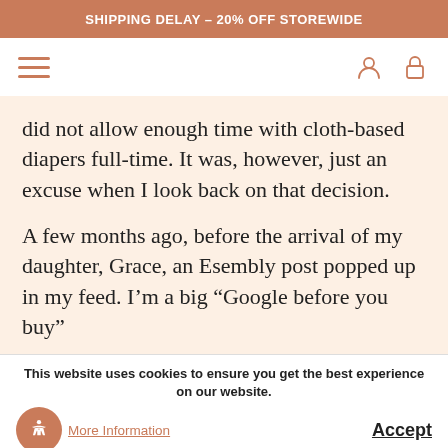SHIPPING DELAY – 20% OFF STOREWIDE
did not allow enough time with cloth-based diapers full-time. It was, however, just an excuse when I look back on that decision.
A few months ago, before the arrival of my daughter, Grace, an Esembly post popped up in my feed. I'm a big “Google before you buy”
This website uses cookies to ensure you get the best experience on our website.
More Information
Accept